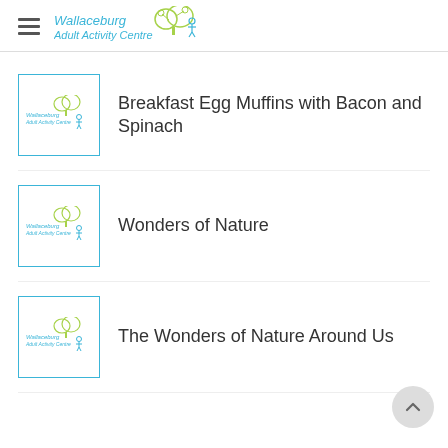Wallaceburg Adult Activity Centre
Breakfast Egg Muffins with Bacon and Spinach
Wonders of Nature
The Wonders of Nature Around Us